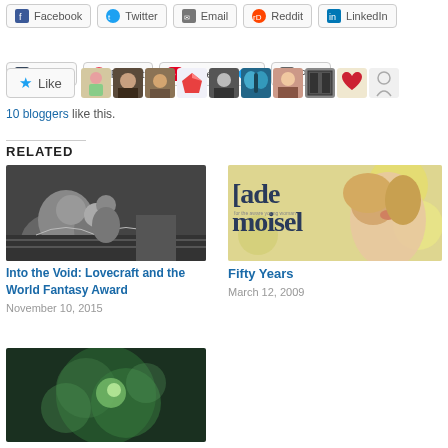[Figure (screenshot): Social share buttons row 1: Facebook, Twitter, Email, Reddit, LinkedIn]
[Figure (screenshot): Social share buttons row 2: Tumblr, Pocket, Pinterest (10), Print]
[Figure (screenshot): Like button with star icon and 10 blogger avatars]
10 bloggers like this.
RELATED
[Figure (photo): Black and white photo of stone angel figures]
Into the Void: Lovecraft and the World Fantasy Award
November 10, 2015
[Figure (photo): Magazine cover showing a young woman with blonde hair, text reads lademoisel]
Fifty Years
March 12, 2009
[Figure (photo): Blurry green bokeh nature photo]